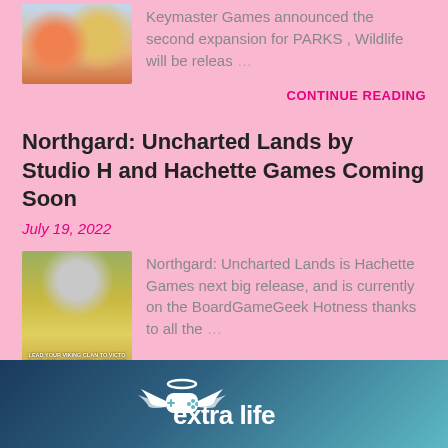Keymaster Games announced the second expansion for PARKS , Wildlife will be releas…
CONTINUE READING
Northgard: Uncharted Lands by Studio H and Hachette Games Coming Soon
July 19, 2022
Northgard: Uncharted Lands is Hachette Games next big release, and is currently on the BoardGameGeek Hotness thanks to all the…
CONTINUE READING
[Figure (logo): Extra Life logo with white game controller angel wings icon and white text reading 'extra life' on dark teal/navy gradient background]